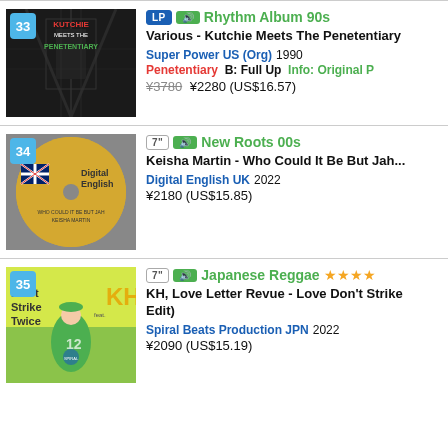[Figure (photo): Album cover #33: Kutchie Meets The Penetentiary - dark prison corridor image]
33
LP | sound | Rhythm Album 90s
Various - Kutchie Meets The Penetentiary
Super Power US (Org)  1990
Penetentiary  B: Full Up  Info: Original P
¥3780 ¥2280 (US$16.57)
[Figure (photo): Album cover #34: Digital English 7-inch single - yellow label with Union Jack]
34
7" | sound | New Roots 00s
Keisha Martin - Who Could It Be But Jah
Digital English UK  2022
¥2180 (US$15.85)
[Figure (photo): Album cover #35: KH, Love Letter Revue - Love Don't Strike Twice - yellow illustrated cover with baseball player]
35
7" | sound | Japanese Reggae ★★★★
KH, Love Letter Revue - Love Don't Strike Twice (Edit)
Spiral Beats Production JPN  2022
¥2090 (US$15.19)